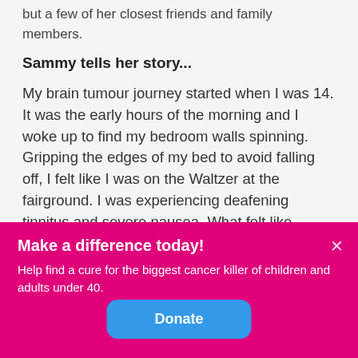but a few of her closest friends and family members.
Sammy tells her story...
My brain tumour journey started when I was 14. It was the early hours of the morning and I woke up to find my bedroom walls spinning. Gripping the edges of my bed to avoid falling off, I felt like I was on the Waltzer at the fairground. I was experiencing deafening tinnitus and severe nausea. What felt like minutes to me was
Make a difference today!
Help find a cure for the biggest cancer killer of children and adults under 40.
Donate